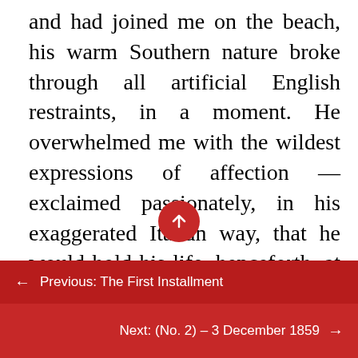and had joined me on the beach, his warm Southern nature broke through all artificial English restraints, in a moment. He overwhelmed me with the wildest expressions of affection — exclaimed passionately, in his exaggerated Italian way, that he would hold his life, henceforth, at my disposal— and declared that he should never be happy again, until he had found an opportunity of proving his gratitude by rendering me some service which I might remember, on my side, to the end of my days. I did my best to stop the torrent of his tears and protestations, by persisting in treating
← Previous: The First Installment
Next: (No. 2) – 3 December 1859 →